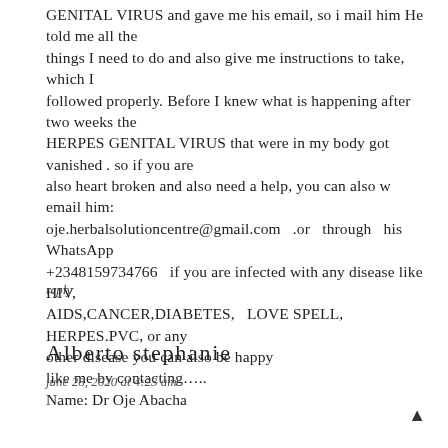GENITAL VIRUS and gave me his email, so i mail him He told me all the things I need to do and also give me instructions to take, which I followed properly. Before I knew what is happening after two weeks the HERPES GENITAL VIRUS that were in my body got vanished . so if you are also heart broken and also need a help, you can also w email him: oje.herbalsolutioncentre@gmail.com .or through his WhatsApp +2348159734766 if you are infected with any disease like HIV, AIDS,CANCER,DIABETES, LOVE SPELL, HERPES.PVC, or any other disease you can also be happy like me by contacting….. Name: Dr Oje Abacha
reply
Alberto stephanie
june 28, 2020 at 4:23 am